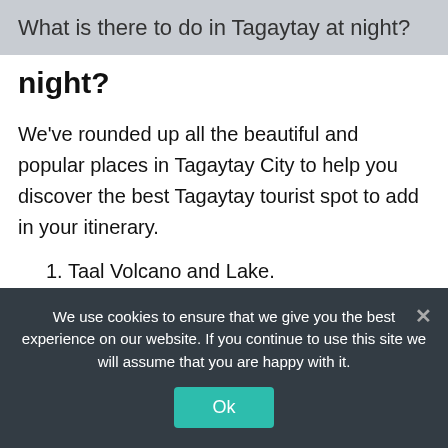What is there to do in Tagaytay at night?
night?
We've rounded up all the beautiful and popular places in Tagaytay City to help you discover the best Tagaytay tourist spot to add in your itinerary.
1. Taal Volcano and Lake.
2. Picnic Grove.
3. People's Park in the Sky.
4. Sky Ranch Tagaytay.
We use cookies to ensure that we give you the best experience on our website. If you continue to use this site we will assume that you are happy with it.